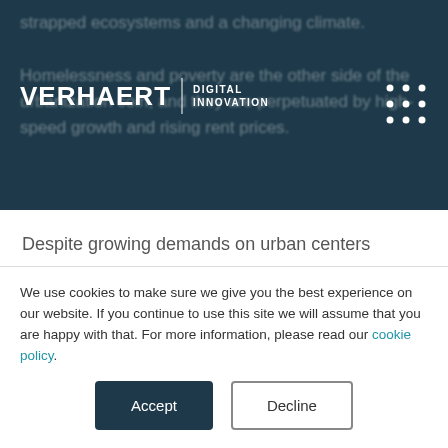VERHAERT | DIGITAL INNOVATION
strapped ecosystems and a changing climate.

Homelessness and poverty are the other side of the urbanization coin, and they are perpetuated by high-speed growth and rising rent prices.
Despite growing demands on urban centers worldwide, the outlook for the future is very optimistic, thanks to advances brought on by the digital age. When correctly applied to solving these big societal challenges, new technology has the potential to further fuel employment
We use cookies to make sure we give you the best experience on our website. If you continue to use this site we will assume that you are happy with that. For more information, please read our cookie policy.
Accept
Decline